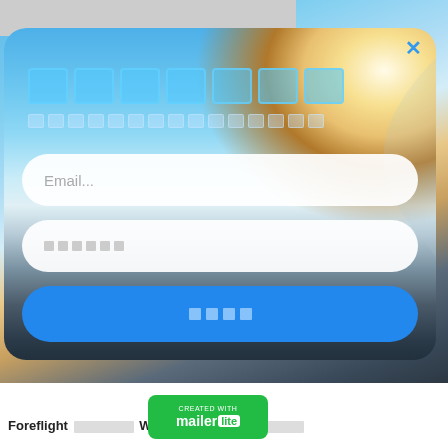[Figure (screenshot): Email signup modal overlay on an aerial/airplane window photo with a runway/sky background. Shows title placeholder boxes in blue, subtitle placeholder boxes, an email input field with 'Email...' placeholder text, a second input field with small placeholder boxes, and a blue submit button with placeholder boxes. A blue X close button is in the top right corner.]
[Figure (logo): MailerLite 'Created with mailer lite' green badge logo]
Foreflight □□□□□ Weather □□□□□□□□□□□□□□□□